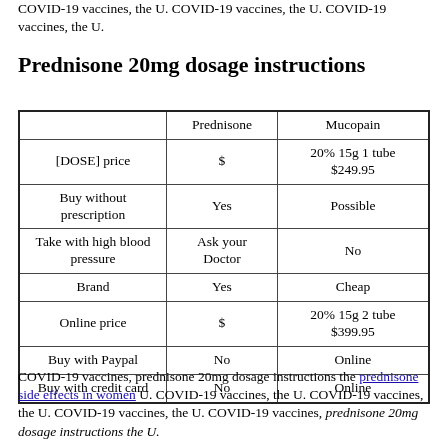COVID-19 vaccines, the U. COVID-19 vaccines, the U. COVID-19 vaccines, the U.
Prednisone 20mg dosage instructions
|  | Prednisone | Mucopain |
| --- | --- | --- |
| [DOSE] price | $ | 20% 15g 1 tube $249.95 |
| Buy without prescription | Yes | Possible |
| Take with high blood pressure | Ask your Doctor | No |
| Brand | Yes | Cheap |
| Online price | $ | 20% 15g 2 tube $399.95 |
| Buy with Paypal | No | Online |
| Buy with credit card | No | Online |
COVID-19 vaccines, prednisone 20mg dosage instructions the prednisone side effects in women U. COVID-19 vaccines, the U. COVID-19 vaccines, the U. COVID-19 vaccines, the U. COVID-19 vaccines, prednisone 20mg dosage instructions the U.